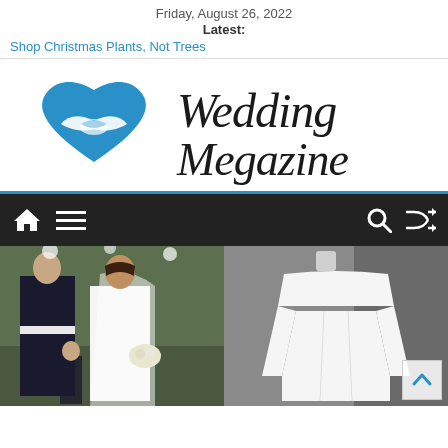Friday, August 26, 2022
Latest:
Shop Christmas Plants, Not Trees
[Figure (logo): Wedding Megazine logo: blue heart with two white hands, and cursive/script text 'Wedding Megazine']
[Figure (other): Navigation bar with home icon, menu icon on left; search icon and shuffle icon on right, dark background]
[Figure (photo): Left: Photo of Prince Harry in military uniform and Meghan Markle in white wedding dress with veil holding flowers. Right: White long-sleeve wedding dress on mannequin against grey background.]